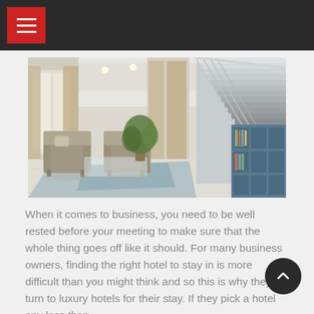Navigation menu bar with hamburger icon
[Figure (photo): Luxury hotel lobby interior with elegant armchairs, glass coffee table, potted plant, staircase with metal railings, and blue bookshelf unit along the wall. Neutral beige tones with white walls and recessed lighting.]
When it comes to business, you need to be well rested before your meeting to make sure that the whole thing goes off like it should. For many business owners, finding the right hotel to stay in is more difficult than you might think and so this is why they turn to luxury hotels for their stay. If they pick a hotel any less than